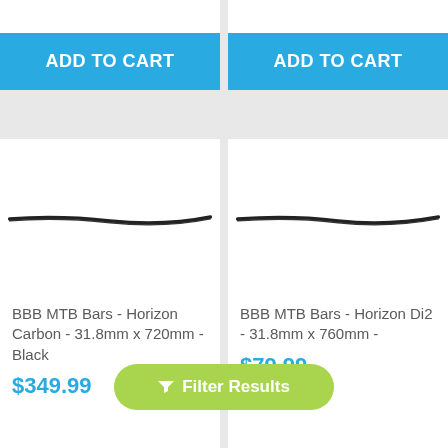[Figure (other): Top-left product card partial view showing white background (product image cut off at top)]
ADD TO CART
[Figure (other): Top-right product card partial view showing white background (product image cut off at top)]
ADD TO CART
[Figure (photo): BBB MTB Bars - Horizon Carbon handlebar product image, black handlebar on white background]
BBB MTB Bars - Horizon Carbon - 31.8mm x 720mm - Black
$349.99
[Figure (photo): BBB MTB Bars - Horizon Di2 handlebar product image, black handlebar on white background]
BBB MTB Bars - Horizon Di2 - 31.8mm x 760mm -
$79.99
Filter Results